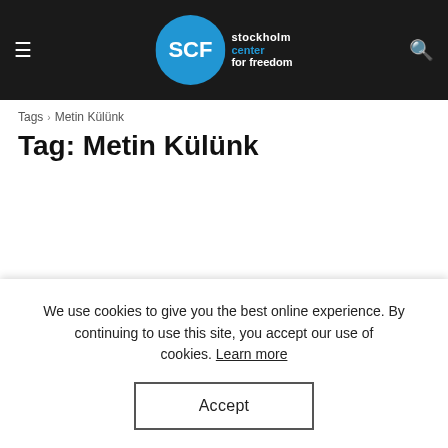Stockholm Center for Freedom
Tags › Metin Külünk
Tag: Metin Külünk
We use cookies to give you the best online experience. By continuing to use this site, you accept our use of cookies. Learn more
Accept
Turkish journalists in exile attacked outside EU in Germany